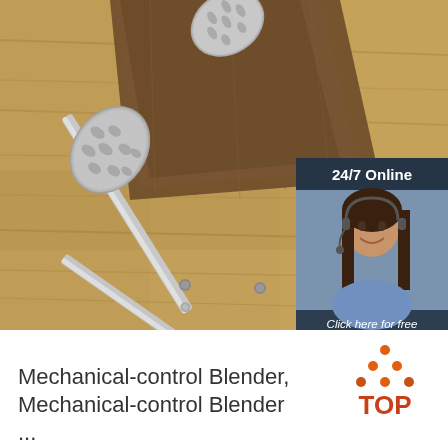[Figure (photo): Two stainless steel slotted spoons/skimmers lying on a wooden surface with a wooden cutting board in the background. A customer service chat widget overlay is visible in the top-right corner showing '24/7 Online', a female agent with headset, 'Click here for free chat!' text and an orange 'QUOTATION' button.]
[Figure (logo): Orange and brown 'TOP' logo with orange dots arranged in a triangle above the word TOP in orange/brown colors]
Mechanical-control Blender, Mechanical-control Blender ...